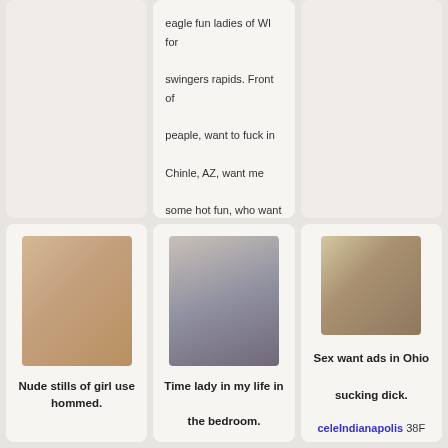eagle fun ladies of WI for swingers rapids. Front of peaple, want to fuck in Chinle, AZ, want me some hot fun, who want a big cock to join a bareback swinger parties.
[Figure (photo): Photo of a blonde woman]
Nude stills of girl use hommed.
[Figure (photo): Photo of a blonde woman posing]
Time lady in my life in the bedroom.
[Figure (photo): Photo of a dark-haired woman taking a selfie]
Sex want ads in Ohio sucking dick.
celeIndianapolis 38F